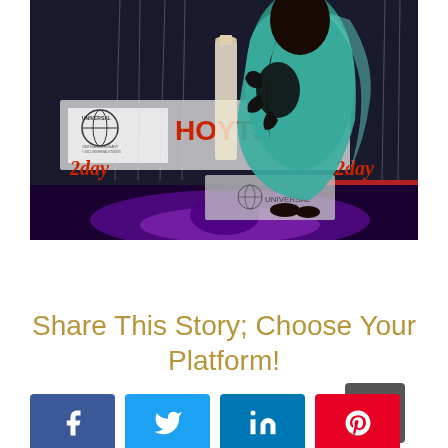[Figure (photo): A person wearing a teal/green dress standing at what appears to be a red carpet event with UNIVERSAL 100th Anniversary and HOYTS branding visible in the background, along with '2day' logos. Venue has purple lighting at the bottom.]
Share This Story; Choose Your Platform!